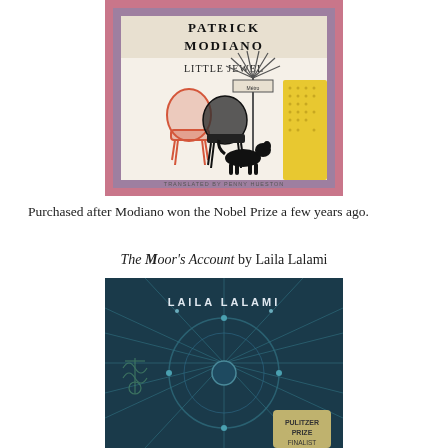[Figure (illustration): Book cover of 'Little Jewel' by Patrick Modiano, translated by Penny Hueston. Cover shows two café chairs (one orange/red, one black wicker), a Paris Metro sign, a black dog, and a yellow dotted background element. Author name at top in large serif letters, title in center, translator credit at bottom.]
Purchased after Modiano won the Nobel Prize a few years ago.
The Moor's Account by Laila Lalami
[Figure (illustration): Book cover of 'The Moor's Account' by Laila Lalami. Dark teal/navy background with compass rose or navigational wheel design. Author name 'LAILA LALAMI' at top, 'PULITZER PRIZE FINALIST' badge visible at bottom right.]